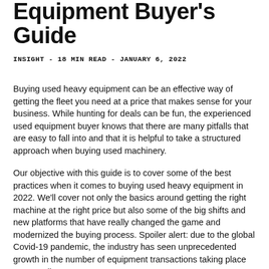Equipment Buyer's Guide
INSIGHT - 18 MIN READ - JANUARY 6, 2022
Buying used heavy equipment can be an effective way of getting the fleet you need at a price that makes sense for your business. While hunting for deals can be fun, the experienced used equipment buyer knows that there are many pitfalls that are easy to fall into and that it is helpful to take a structured approach when buying used machinery.
Our objective with this guide is to cover some of the best practices when it comes to buying used heavy equipment in 2022. We'll cover not only the basics around getting the right machine at the right price but also some of the big shifts and new platforms that have really changed the game and modernized the buying process. Spoiler alert: due to the global Covid-19 pandemic, the industry has seen unprecedented growth in the number of equipment transactions taking place 100% online.